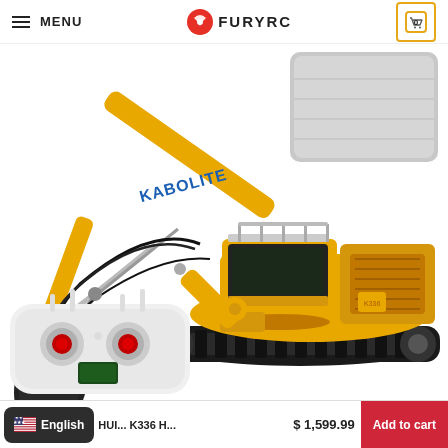MENU — FURYRC — Cart (0)
[Figure (photo): RC excavator model (Kabolite brand, yellow construction excavator with tracks and articulated arm/bucket), a gray foam/carrying case box, and a white RC transmitter controller shown together as product photos on white background.]
English
HUI... K336 H...  $ 1,599.99  Add to cart